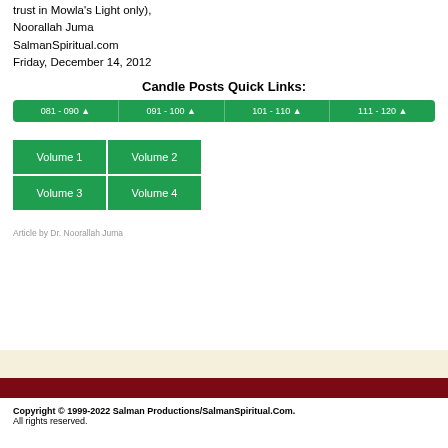trust in Mowla's Light only),
Noorallah Juma
SalmanSpiritual.com
Friday, December 14, 2012
Candle Posts Quick Links:
[Figure (other): Green navigation bar with four range buttons: 081-090, 091-100, 101-110, 111-120, each with an up-arrow triangle]
[Figure (other): 2x2 grid of green volume buttons: Volume 1, Volume 2, Volume 3, Volume 4]
Article by Dr. Noorallah Juma
Copyright © 1999-2022 Salman Productions/SalmanSpiritual.Com.
All rights reserved.